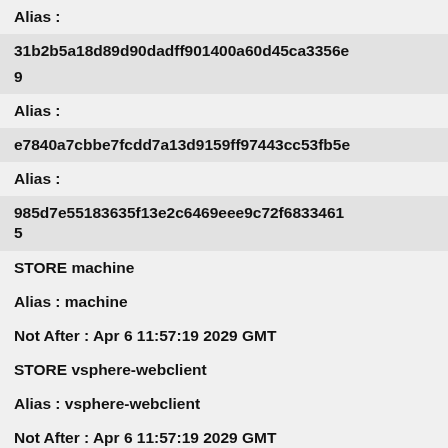Alias :
31b2b5a18d89d90dadff901400a60d45ca3356e
9
Alias :
e7840a7cbbe7fcdd7a13d9159ff97443cc53fb5e
Alias :
985d7e55183635f13e2c6469eee9c72f68334615
STORE machine
Alias : machine
Not After : Apr 6 11:57:19 2029 GMT
STORE vsphere-webclient
Alias : vsphere-webclient
Not After : Apr 6 11:57:19 2029 GMT
STORE vpxd